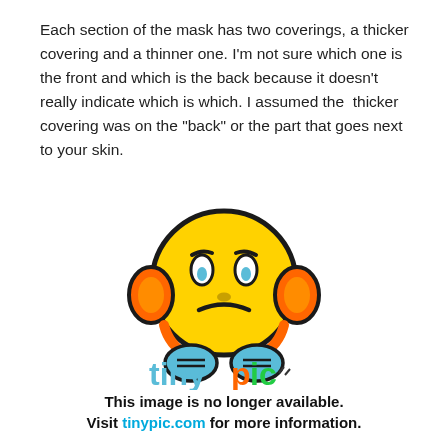Each section of the mask has two coverings, a thicker covering and a thinner one. I'm not sure which one is the front and which is the back because it doesn't really indicate which is which. I assumed the  thicker covering was on the "back" or the part that goes next to your skin.
[Figure (illustration): Tinypic placeholder image: a frowning yellow emoji face with orange ear/headphone pieces and blue hands clasped together, with the tinypic logo below it.]
This image is no longer available. Visit tinypic.com for more information.